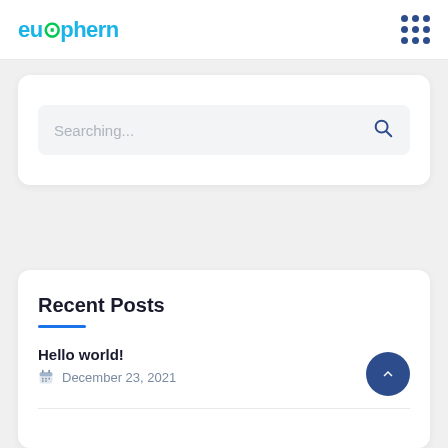euphern
Searching...
Recent Posts
Hello world!
December 23, 2021